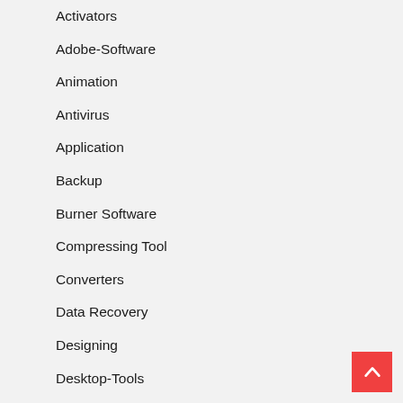Activators
Adobe-Software
Animation
Antivirus
Application
Backup
Burner Software
Compressing Tool
Converters
Data Recovery
Designing
Desktop-Tools
Download-Managers
Driver Updater